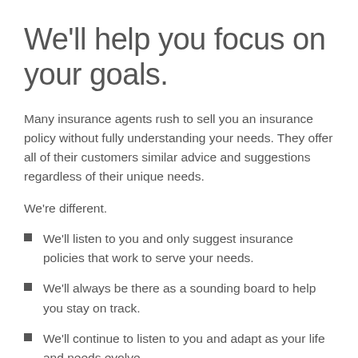We'll help you focus on your goals.
Many insurance agents rush to sell you an insurance policy without fully understanding your needs. They offer all of their customers similar advice and suggestions regardless of their unique needs.
We're different.
We'll listen to you and only suggest insurance policies that work to serve your needs.
We'll always be there as a sounding board to help you stay on track.
We'll continue to listen to you and adapt as your life and needs evolve.